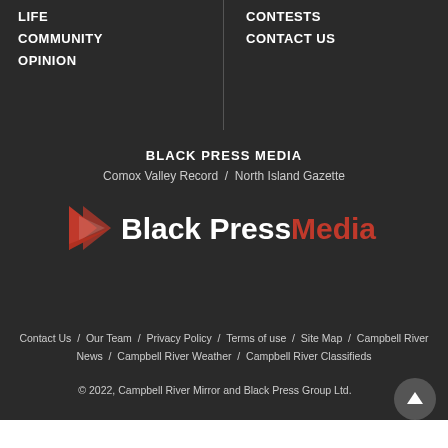LIFE
COMMUNITY
OPINION
CONTESTS
CONTACT US
BLACK PRESS MEDIA
Comox Valley Record / North Island Gazette
[Figure (logo): Black Press Media logo with red chevron icon and white/red text]
Contact Us / Our Team / Privacy Policy / Terms of use / Site Map / Campbell River News / Campbell River Weather / Campbell River Classifieds
© 2022, Campbell River Mirror and Black Press Group Ltd.